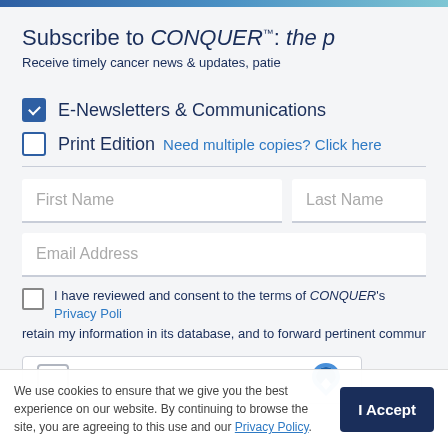Subscribe to CONQUER™: the p
Receive timely cancer news & updates, patie
E-Newsletters & Communications
Print Edition Need multiple copies? Click here
First Name
Last Name
Email Address
I have reviewed and consent to the terms of CONQUER's Privacy Poli
retain my information in its database, and to forward pertinent communica
We use cookies to ensure that we give you the best experience on our website. By continuing to browse the site, you are agreeing to this use and our Privacy Policy.